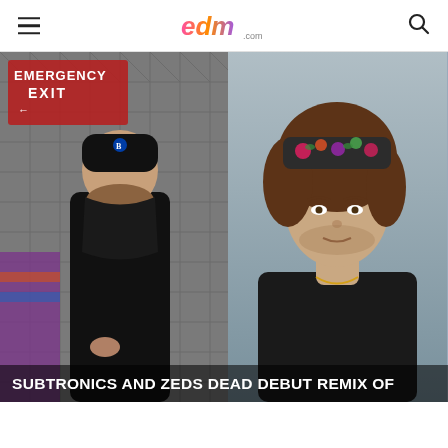EDM.com
[Figure (photo): Left half: Two people standing in front of a chain-link fence near an Emergency Exit sign. The person in front wears a black hoodie with a Blue Jays cap and has tattoos; another person is partially visible in colorful clothing. Right half: A young man with curly hair wearing a black t-shirt and a floral headband/hat, against a neutral gray background.]
SUBTRONICS AND ZEDS DEAD DEBUT REMIX OF